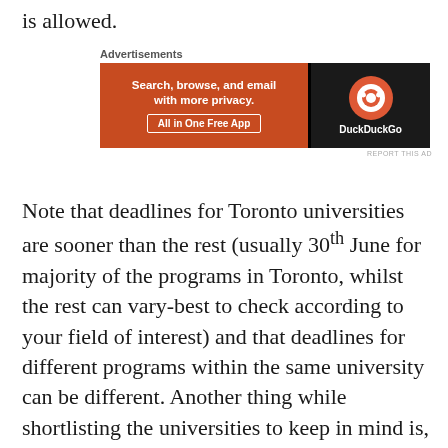is allowed.
[Figure (other): DuckDuckGo advertisement banner: 'Search, browse, and email with more privacy. All in One Free App' with DuckDuckGo logo on dark background.]
Note that deadlines for Toronto universities are sooner than the rest (usually 30th June for majority of the programs in Toronto, whilst the rest can vary-best to check according to your field of interest) and that deadlines for different programs within the same university can be different. Another thing while shortlisting the universities to keep in mind is, that the following universities require French as a second language: Université de Montréal, Université de Sherbrook, Université Laval (pretty obvious from the